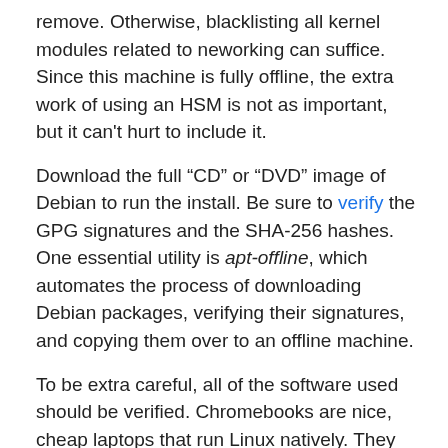remove. Otherwise, blacklisting all kernel modules related to neworking can suffice. Since this machine is fully offline, the extra work of using an HSM is not as important, but it can't hurt to include it.
Download the full “CD” or “DVD” image of Debian to run the install. Be sure to verify the GPG signatures and the SHA-256 hashes. One essential utility is apt-offline, which automates the process of downloading Debian packages, verifying their signatures, and copying them over to an offline machine.
To be extra careful, all of the software used should be verified. Chromebooks are nice, cheap laptops that run Linux natively. They also use Coreboot for the BIOS.
Buy a computer off the shelf with cash, avoid having it shipped, especially across borders
Buy a Debian-supported Chromebook with removeable WiFi hardware, and needs no binary